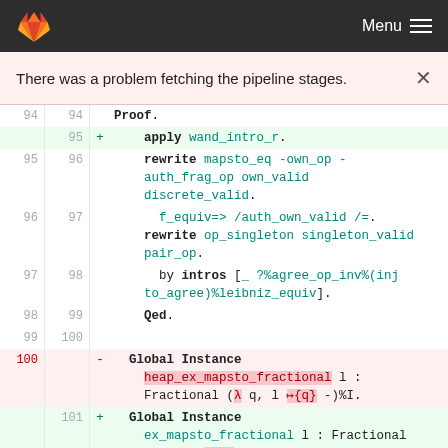Menu (GitLab navigation)
There was a problem fetching the pipeline stages.
[Figure (screenshot): Code diff view showing Coq proof lines 94-101 with added (green) and removed (red) lines. Line 95 added: apply wand_intro_r. Lines 95-99 show rewrite and proof steps. Line 100 removed: Global Instance heap_ex_mapsto_fractional. Line 101 added: Global Instance ex_mapsto_fractional.]